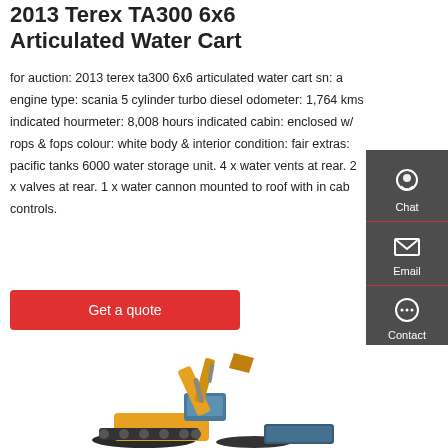2013 Terex TA300 6x6 Articulated Water Cart
for auction: 2013 terex ta300 6x6 articulated water cart sn: a engine type: scania 5 cylinder turbo diesel odometer: 1,764 kms indicated hourmeter: 8,008 hours indicated cabin: enclosed w/ rops & fops colour: white body & interior condition: fair extras: pacific tanks 6000 water storage unit. 4 x water vents at rear. 2 x valves at rear. 1 x water cannon mounted to roof with in cab controls.
[Figure (screenshot): Sidebar with Chat, Email, and Contact icons on dark grey background]
[Figure (photo): Yellow and black mini excavator / construction equipment on white background]
Get a quote